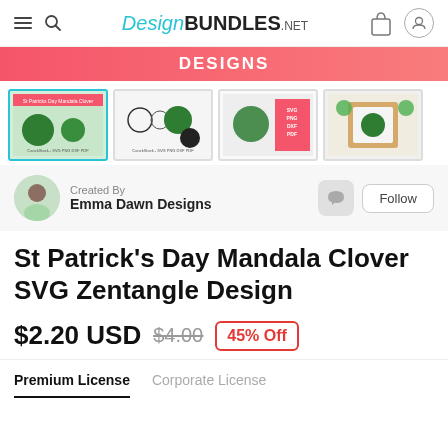DesignBUNDLES.NET
[Figure (screenshot): Pink banner with text DESIGNS]
[Figure (screenshot): Four product thumbnail images of St Patrick's Day Mandala Clover SVG designs]
Created By
Emma Dawn Designs
St Patrick's Day Mandala Clover SVG Zentangle Design
$2.20 USD  $4.00  45% Off
Premium License   Corporate License